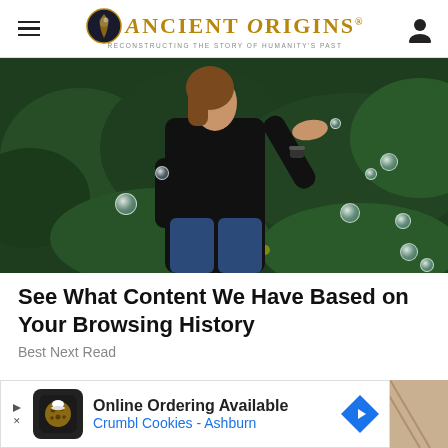Ancient Origins — Reconstructing the story of humanity's past
[Figure (photo): Person in black t-shirt with hand outstretched, surrounded by soap bubbles, with green foliage background]
See What Content We Have Based on Your Browsing History
Best Next Read
[Figure (photo): Online Ordering Available advertisement banner for Crumbl Cookies - Ashburn]
[Figure (photo): Partial view of elderly people at bottom of page]